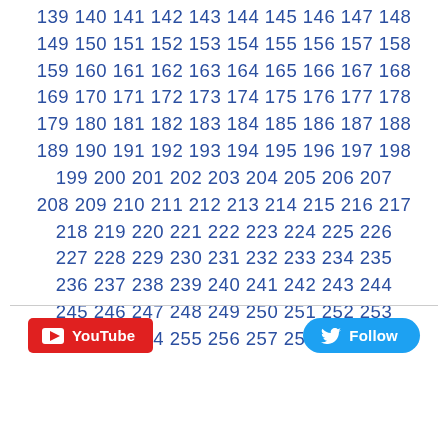139 140 141 142 143 144 145 146 147 148 149 150 151 152 153 154 155 156 157 158 159 160 161 162 163 164 165 166 167 168 169 170 171 172 173 174 175 176 177 178 179 180 181 182 183 184 185 186 187 188 189 190 191 192 193 194 195 196 197 198 199 200 201 202 203 204 205 206 207 208 209 210 211 212 213 214 215 216 217 218 219 220 221 222 223 224 225 226 227 228 229 230 231 232 233 234 235 236 237 238 239 240 241 242 243 244 245 246 247 248 249 250 251 252 253 254 255 256 257 258
[Figure (other): YouTube subscribe button (red) and Twitter Follow button (blue)]